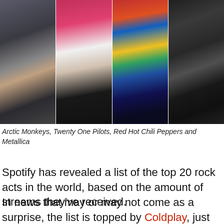[Figure (photo): Four-panel photo strip showing Arctic Monkeys, Twenty One Pilots, Red Hot Chili Peppers and Metallica performers on stage]
Arctic Monkeys, Twenty One Pilots, Red Hot Chili Peppers and Metallica
Spotify has revealed a list of the top 20 rock acts in the world, based on the amount of streams they've received.
In news that may or may not come as a surprise, the list is topped by Coldplay, just ahead of US rock